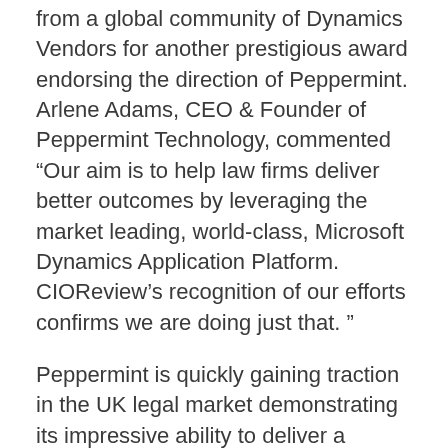from a global community of Dynamics Vendors for another prestigious award endorsing the direction of Peppermint. Arlene Adams, CEO & Founder of Peppermint Technology, commented “Our aim is to help law firms deliver better outcomes by leveraging the market leading, world-class, Microsoft Dynamics Application Platform. CIOReview’s recognition of our efforts confirms we are doing just that. ”
Peppermint is quickly gaining traction in the UK legal market demonstrating its impressive ability to deliver a strong return on investment for its customers. Gepps & Sons Solicitors, a large multi service firm based in Chelmsford, has been using Peppermint CX for 2 years and are already getting a strong return on their investment. Mike Cubbin, CEO of Gepps & Sons explains “Since the introduction of Peppermint the conveyancing team